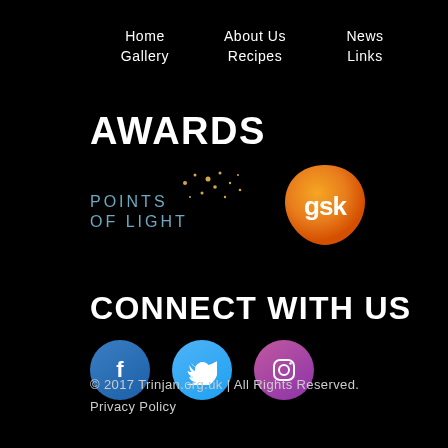Home   About Us   News   Events   Gallery   Recipes   Links   Contact
AWARDS
[Figure (logo): Points of Light logo and GSK logo side by side]
CONNECT WITH US
[Figure (infographic): Social media icons: Facebook, Twitter, Instagram]
© 2017 Trinjan.org.uk | All Rights Reserved.
Privacy Policy